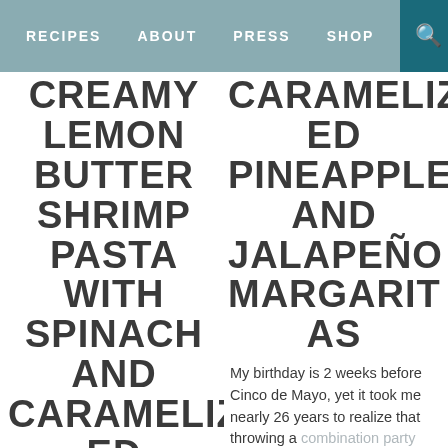RECIPES   ABOUT   PRESS   SHOP
CREAMY LEMON BUTTER SHRIMP PASTA WITH SPINACH AND CARAMELIZED GARLIC
I've been seeing drunk food all over facebook lately- the stuff you
CARAMELIZED PINEAPPLE AND JALAPEÑO MARGARITAS
My birthday is 2 weeks before Cinco de Mayo, yet it took me nearly 26 years to realize that throwing a combination party stocked with salsas and